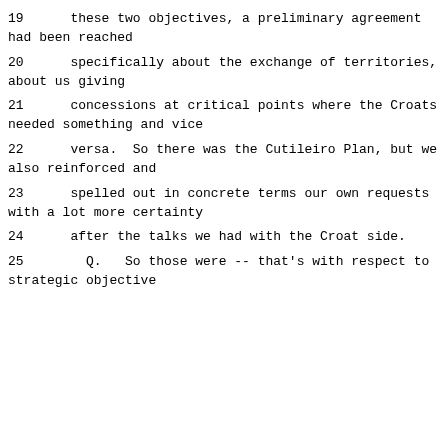19      these two objectives, a preliminary agreement had been reached
20      specifically about the exchange of territories, about us giving
21      concessions at critical points where the Croats needed something and vice
22      versa.  So there was the Cutileiro Plan, but we also reinforced and
23      spelled out in concrete terms our own requests with a lot more certainty
24      after the talks we had with the Croat side.
25        Q.   So those were -- that's with respect to strategic objective